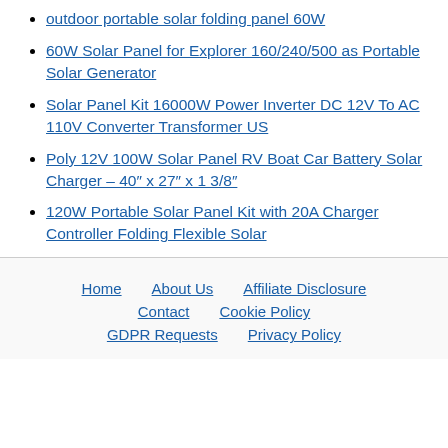outdoor portable solar folding panel 60W
60W Solar Panel for Explorer 160/240/500 as Portable Solar Generator
Solar Panel Kit 16000W Power Inverter DC 12V To AC 110V Converter Transformer US
Poly 12V 100W Solar Panel RV Boat Car Battery Solar Charger – 40″ x 27″ x 1 3/8″
120W Portable Solar Panel Kit with 20A Charger Controller Folding Flexible Solar
Home | About Us | Affiliate Disclosure | Contact | Cookie Policy | GDPR Requests | Privacy Policy